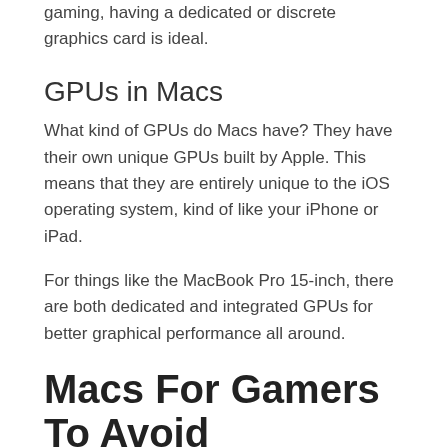gaming, having a dedicated or discrete graphics card is ideal.
GPUs in Macs
What kind of GPUs do Macs have? They have their own unique GPUs built by Apple. This means that they are entirely unique to the iOS operating system, kind of like your iPhone or iPad.
For things like the MacBook Pro 15-inch, there are both dedicated and integrated GPUs for better graphical performance all around.
Macs For Gamers To Avoid
While gaming on Mac is becoming more common, there are still Macs to avoid if you are planning on